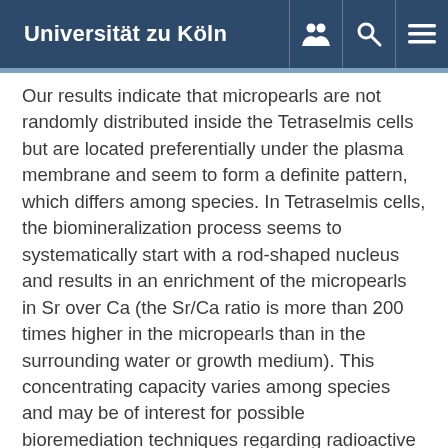Universität zu Köln
Our results indicate that micropearls are not randomly distributed inside the Tetraselmis cells but are located preferentially under the plasma membrane and seem to form a definite pattern, which differs among species. In Tetraselmis cells, the biomineralization process seems to systematically start with a rod-shaped nucleus and results in an enrichment of the micropearls in Sr over Ca (the Sr/Ca ratio is more than 200 times higher in the micropearls than in the surrounding water or growth medium). This concentrating capacity varies among species and may be of interest for possible bioremediation techniques regarding radioactive Sr-90 water pollution. The Tetraselmis species forming micropearls live in various habitats, indicating that this novel biomineralization process takes place in different environments (marine, brackish and freshwater) and is therefore a widespread phenomenon.